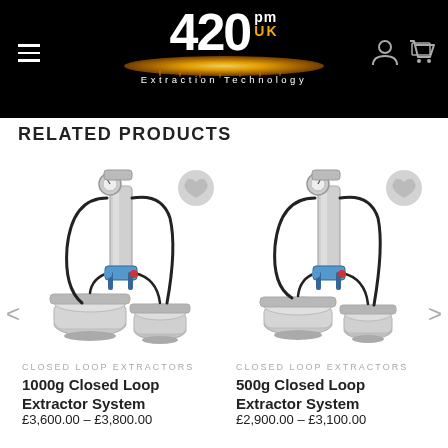420 PM UK Extraction Technology
RELATED PRODUCTS
[Figure (photo): 1000g Closed Loop Extractor System product photo showing stainless steel closed loop extraction equipment with pressure gauge, tubes and fittings]
CLOSED LOOP EXTRACTORS
1000g Closed Loop Extractor System
£3,600.00 – £3,800.00
[Figure (photo): 500g Closed Loop Extractor System product photo showing stainless steel closed loop extraction equipment with pressure gauge, tubes and fittings]
CLOSED LOOP EXTRACTORS
500g Closed Loop Extractor System
£2,900.00 – £3,100.00